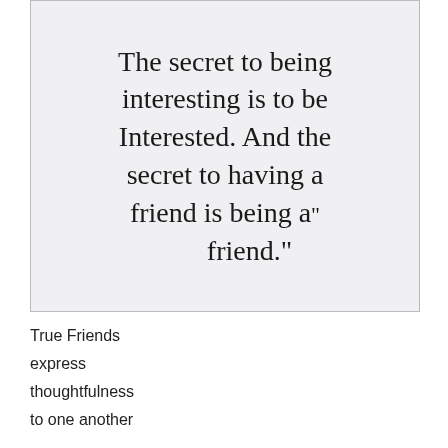[Figure (photo): A handwritten note on white paper reading: 'The secret to being interesting is to be Interested. And the secret to having a friend is being a friend.']
True Friends express thoughtfulness to one another